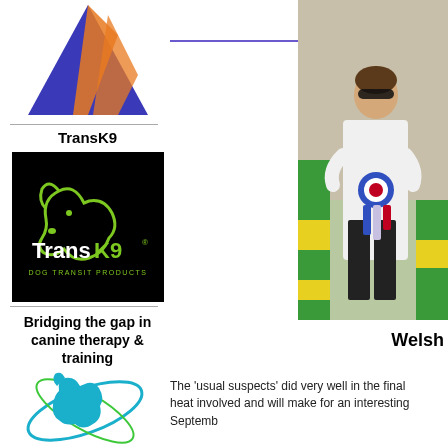[Figure (logo): TransK9 logo triangle shape in blue and orange]
TransK9
[Figure (logo): TransK9 brand logo on black background with green dog silhouette and text 'Trans K9 Dog Transit Products']
Bridging the gap in canine therapy & training
[Figure (logo): Horse logo with orbital rings, teal and green]
[Figure (photo): Person wearing sunglasses holding rosettes/ribbons, standing next to a green and yellow agility obstacle outdoors]
Welsh
The ‘usual suspects’ did very well in the final heat involved and will make for an interesting Septemb